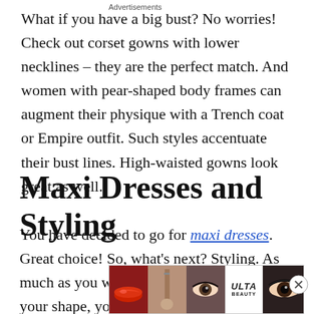What if you have a big bust? No worries! Check out corset gowns with lower necklines – they are the perfect match. And women with pear-shaped body frames can augment their physique with a Trench coat or Empire outfit. Such styles accentuate their bust lines. High-waisted gowns look great as well.
Maxi Dresses and Styling
You have decided to go for maxi dresses. Great choice! So, what's next? Styling. As much as you want clothes that augment your shape, you also need o...
Advertisements
[Figure (other): Advertisement banner for ULTA beauty showing close-up images of lips, makeup brush, eye, ULTA logo, eye with makeup, and SHOP NOW text]